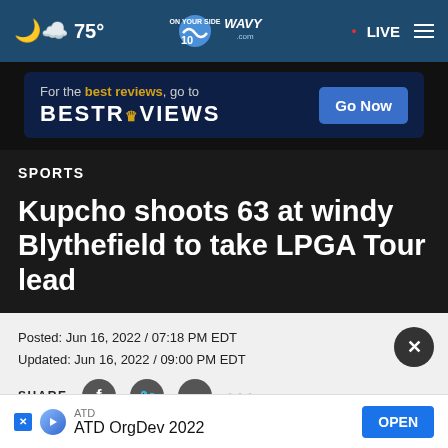75° WAVY.com On Your Side 10 • LIVE
[Figure (screenshot): BestReviews advertisement banner: 'For the best reviews, go to BESTREVIEWS' with a 'Go Now' button]
SPORTS
Kupcho shoots 63 at windy Blythefield to take LPGA Tour lead
Posted: Jun 16, 2022 / 07:18 PM EDT
Updated: Jun 16, 2022 / 09:00 PM EDT
SHARE
[Figure (screenshot): ATD advertisement popup: 'ATD OrgDev 2022' with an 'OPEN' button]